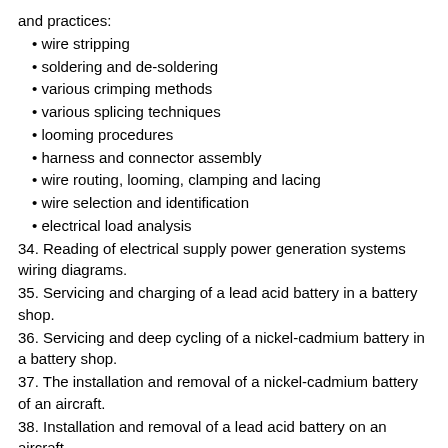and practices:
wire stripping
soldering and de-soldering
various crimping methods
various splicing techniques
looming procedures
harness and connector assembly
wire routing, looming, clamping and lacing
wire selection and identification
electrical load analysis
34. Reading of electrical supply power generation systems wiring diagrams.
35. Servicing and charging of a lead acid battery in a battery shop.
36. Servicing and deep cycling of a nickel-cadmium battery in a battery shop.
37. The installation and removal of a nickel-cadmium battery of an aircraft.
38. Installation and removal of a lead acid battery on an aircraft.
39. Construction of a basic wiring harness using acceptable methods, techniques and practices.
40. Troubleshooting of various control and protection devices as required by schematic diagram of a simple aircraft circuit.